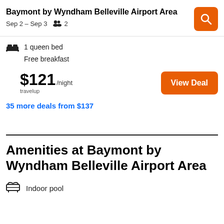Baymont by Wyndham Belleville Airport Area
Sep 2 – Sep 3   2
1 queen bed
Free breakfast
$121/night
travelup
View Deal
35 more deals from $137
Amenities at Baymont by Wyndham Belleville Airport Area
Indoor pool